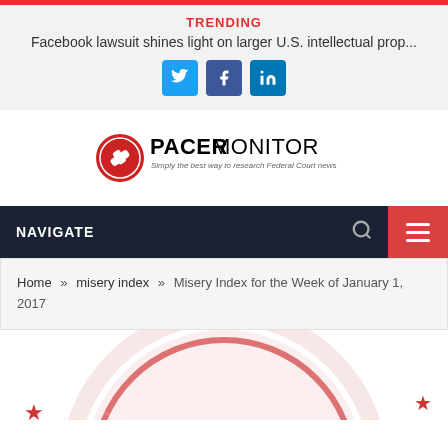TRENDING
Facebook lawsuit shines light on larger U.S. intellectual prop...
[Figure (screenshot): Social media share buttons: Twitter (blue), Facebook (dark blue), LinkedIn (blue)]
[Figure (logo): PacerMonitor logo - red gavel icon with text PACERMONITOR and tagline 'Simply the best way to research Federal Court news']
NAVIGATE
Home » misery index » Misery Index for the Week of January 1, 2017
[Figure (illustration): Partial red stamp/seal graphic with text MISERY INDEX, stars, and circular distressed design]